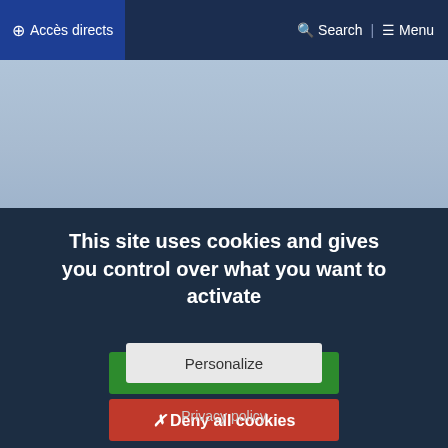⊕ Accès directs    🔍 Search  ☰ Menu
[Figure (photo): Light blue sky/banner area background]
This site uses cookies and gives you control over what you want to activate
✓ OK, accept all
✗ Deny all cookies
Personalize
Privacy policy